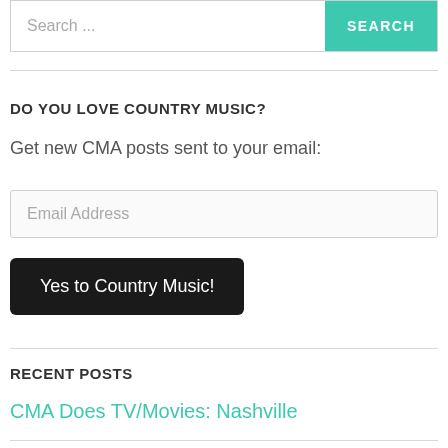Search ...
SEARCH
DO YOU LOVE COUNTRY MUSIC?
Get new CMA posts sent to your email:
Email Address
Yes to Country Music!
RECENT POSTS
CMA Does TV/Movies: Nashville